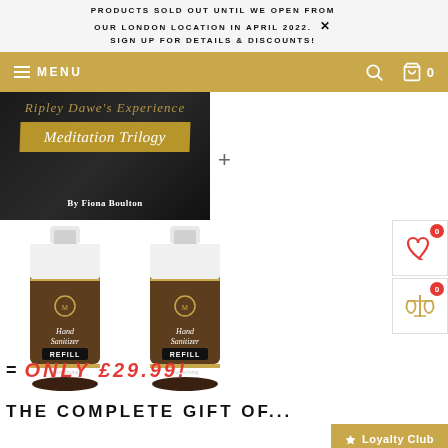PRODUCTS SOLD OUT UNTIL WE OPEN FROM OUR LONDON LOCATION IN APRIL 2022. SIGN UP FOR DETAILS & DISCOUNTS!
MENU
[Figure (photo): Book cover for 'Ripley Dawe's Experience Meditation Trilogy' by Fiona Boulton with gold and black design]
[Figure (photo): Two bottles of Hand Sanitizer Refill products side by side]
= ONLY £29.99!
THE COMPLETE GIFT OF...